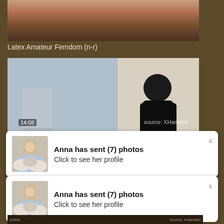[Figure (photo): Top portion of a video thumbnail showing a person]
Latex Amateur Femdom (n-r)
[Figure (photo): Video thumbnail 14:08 from source XHamster, showing person in black latex suit. LeluLove.com watermark visible.]
[Figure (screenshot): Notification popup: Anna has sent (7) photos - Click to see her profile, with thumbnail of blonde woman]
[Figure (screenshot): Second identical notification popup: Anna has sent (7) photos - Click to see her profile, with thumbnail of blonde woman]